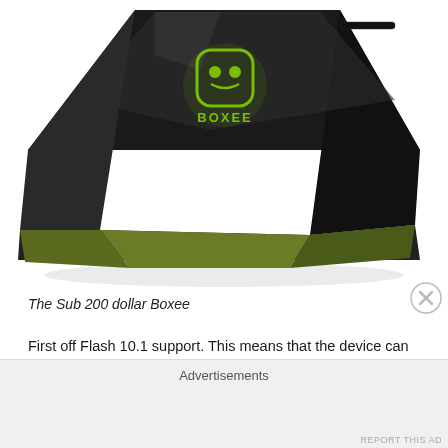[Figure (photo): A Boxee media player device — black angular box with green Boxee logo and accent on the bottom, photographed from above at an angle against a white background.]
The Sub 200 dollar Boxee
First off Flash 10.1 support. This means that the device can not only place shift your favorite TV shows and movies, it can run any application that you can develop in Flash. This is huge. It means that if you are a designer of interactive content, or applications, you can
Advertisements